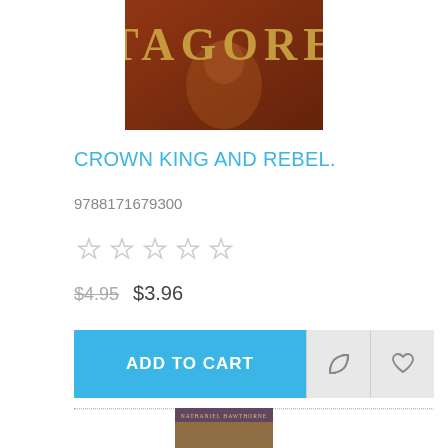[Figure (photo): Book cover image showing the text TAGORE in large golden letters on a dark brownish-red background with a portrait image]
CROWN KING AND REBEL.
9788171679300
[Figure (other): Five empty star rating icons in gray]
$4.95  $3.96
[Figure (other): ADD TO CART button with compare and wishlist icon buttons]
[Figure (photo): Partial book cover image at the bottom of the page]